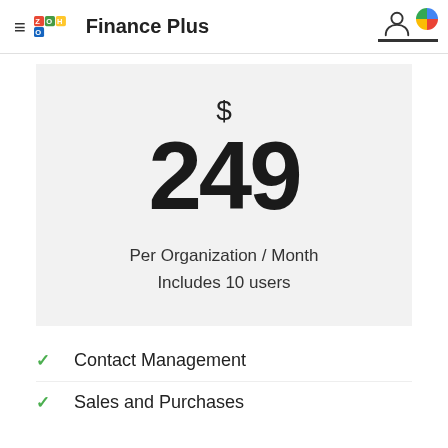ZOHO Finance Plus
$ 249
Per Organization / Month
Includes 10 users
Contact Management
Sales and Purchases